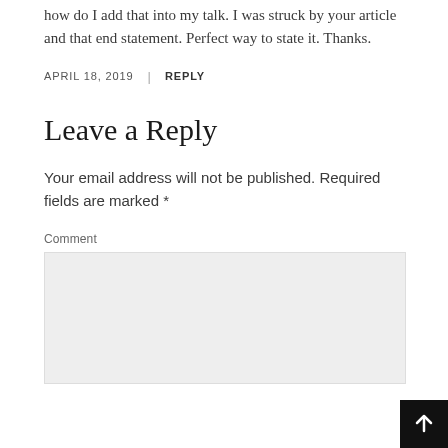how do I add that into my talk. I was struck by your article and that end statement. Perfect way to state it. Thanks.
APRIL 18, 2019 | REPLY
Leave a Reply
Your email address will not be published. Required fields are marked *
Comment